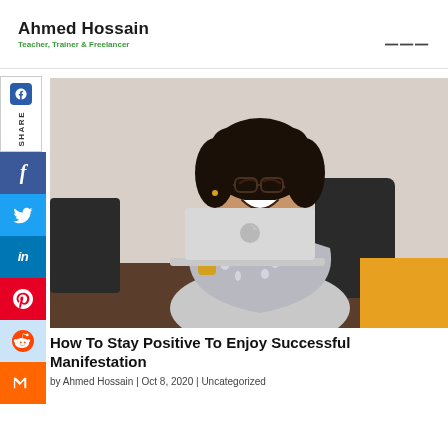Ahmed Hossain — Teacher, Trainer & Freelancer
[Figure (photo): Woman with curly hair and glasses laughing while sitting at a desk with an open MacBook laptop. She is wearing a sparkly sleeveless top and a gold watch. A black office chair is visible behind her.]
How To Stay Positive To Enjoy Successful Manifestation
by Ahmed Hossain | Oct 8, 2020 | Uncategorized